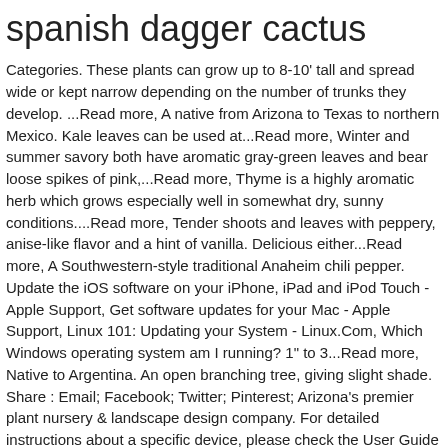spanish dagger cactus
Categories. These plants can grow up to 8-10' tall and spread wide or kept narrow depending on the number of trunks they develop. ...Read more, A native from Arizona to Texas to northern Mexico. Kale leaves can be used at...Read more, Winter and summer savory both have aromatic gray-green leaves and bear loose spikes of pink,...Read more, Thyme is a highly aromatic herb which grows especially well in somewhat dry, sunny conditions....Read more, Tender shoots and leaves with peppery, anise-like flavor and a hint of vanilla. Delicious either...Read more, A Southwestern-style traditional Anaheim chili pepper. Update the iOS software on your iPhone, iPad and iPod Touch - Apple Support, Get software updates for your Mac - Apple Support, Linux 101: Updating your System - Linux.Com, Which Windows operating system am I running? 1" to 3...Read more, Native to Argentina. An open branching tree, giving slight shade. Share : Email; Facebook; Twitter; Pinterest; Arizona's premier plant nursery & landscape design company. For detailed instructions about a specific device, please check the User Guide that came with your device. Summer Savory grows up to 18...Read more, Common garden mint widely used for culinary purposes. Long, tapered, medium-sized,